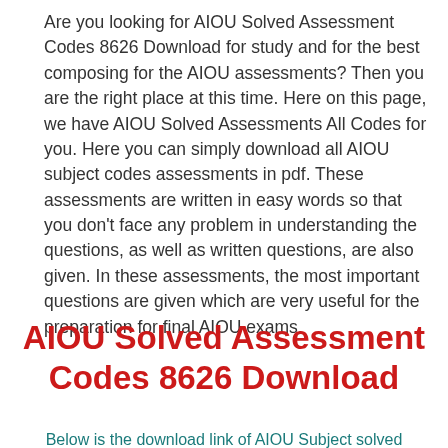Are you looking for AIOU Solved Assessment Codes 8626 Download for study and for the best composing for the AIOU assessments? Then you are the right place at this time. Here on this page, we have AIOU Solved Assessments All Codes for you. Here you can simply download all AIOU subject codes assessments in pdf. These assessments are written in easy words so that you don't face any problem in understanding the questions, as well as written questions, are also given. In these assessments, the most important questions are given which are very useful for the preparation for final AIOU exams.
AIOU Solved Assessment Codes 8626 Download
Below is the download link of AIOU Subject solved